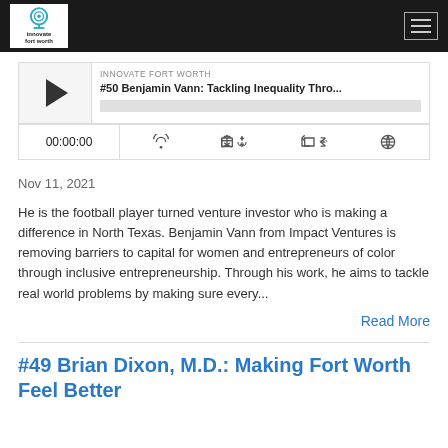Innovate Fort Worth
[Figure (screenshot): Podcast player widget showing episode #50 Benjamin Vann: Tackling Inequality Thro... from Innovate Fort Worth, with play button, progress bar, timestamp 00:00:00, and control icons]
Nov 11, 2021
He is the football player turned venture investor who is making a difference in North Texas. Benjamin Vann from Impact Ventures is removing barriers to capital for women and entrepreneurs of color through inclusive entrepreneurship. Through his work, he aims to tackle real world problems by making sure every...
Read More
#49 Brian Dixon, M.D.: Making Fort Worth Feel Better